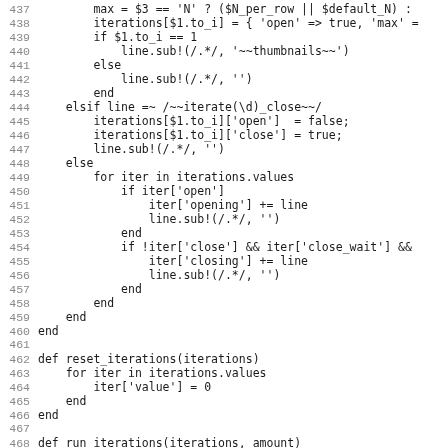Code listing lines 437-468, Ruby source code showing iteration handling logic including reset_iterations and run_iterations function definitions